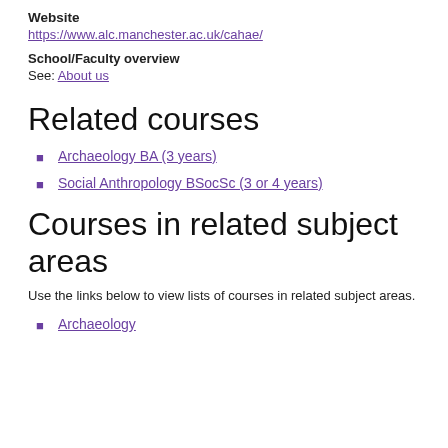Website
https://www.alc.manchester.ac.uk/cahae/
School/Faculty overview
See: About us
Related courses
Archaeology BA (3 years)
Social Anthropology BSocSc (3 or 4 years)
Courses in related subject areas
Use the links below to view lists of courses in related subject areas.
Archaeology